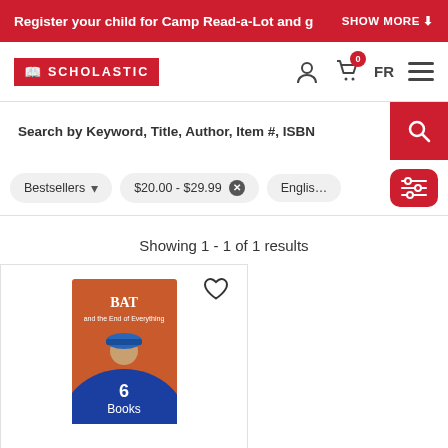Register your child for Camp Read-a-Lot and g  SHOW MORE
[Figure (logo): Scholastic logo — red rectangle with book icon and SCHOLASTIC text in white]
Search by Keyword, Title, Author, Item #, ISBN
Bestsellers  $20.00 - $29.99  English
Showing 1 - 1 of 1 results
[Figure (photo): Book cover for 'BAT and the End of Everything' 6-Pack — red/orange background with blue circle area, child character wearing blue cap, white text '6 Books']
Bat and the End of Everything 6-Pack